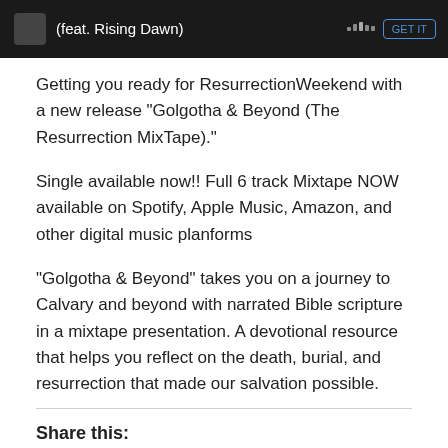[Figure (screenshot): Dark banner showing a music track with title '(feat. Rising Dawn)' and a blue button on the right]
Getting you ready for ResurrectionWeekend with a new release “Golgotha & Beyond (The Resurrection MixTape).”
Single available now!! Full 6 track Mixtape NOW available on Spotify, Apple Music, Amazon, and other digital music planforms
“Golgotha & Beyond” takes you on a journey to Calvary and beyond with narrated Bible scripture in a mixtape presentation. A devotional resource that helps you reflect on the death, burial, and resurrection that made our salvation possible.
Share this:
[Figure (illustration): Row of social sharing icon circles (blue Facebook, light blue Twitter, red Pinterest, grey, dark blue, teal)]